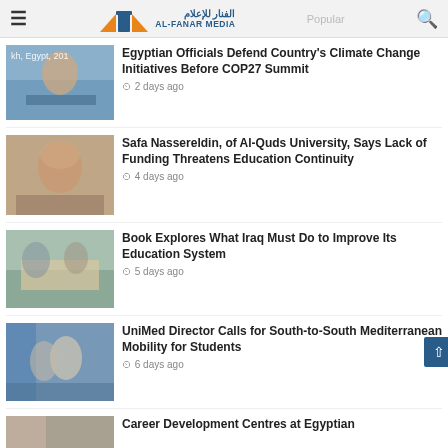AL-FANAR MEDIA
Egyptian Officials Defend Country's Climate Change Initiatives Before COP27 Summit — 2 days ago
Safa Nassereldin, of Al-Quds University, Says Lack of Funding Threatens Education Continuity — 4 days ago
Book Explores What Iraq Must Do to Improve Its Education System — 5 days ago
UniMed Director Calls for South-to-South Mediterranean Mobility for Students — 6 days ago
Career Development Centres at Egyptian...